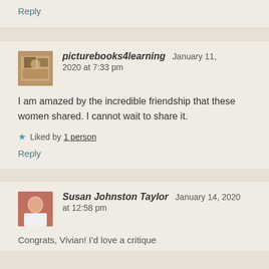Reply
picturebooks4learning   January 11, 2020 at 7:33 pm
I am amazed by the incredible friendship that these women shared. I cannot wait to share it.
★ Liked by 1 person
Reply
Susan Johnston Taylor   January 14, 2020 at 12:58 pm
Congrats, Vivian! I'd love a critique